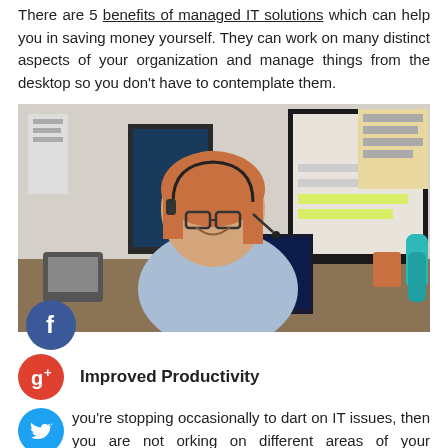There are 5 benefits of managed IT solutions which can help you in saving money yourself. They can work on many distinct aspects of your organization and manage things from the desktop so you don't have to contemplate them.
[Figure (photo): A woman with red hair and glasses wearing a headset, sitting at a desk with multiple computer monitors, smiling at camera in an office cubicle environment.]
Improved Productivity
you're stopping occasionally to dart on IT issues, then you are not orking on different areas of your business. Each time you stop and ert, you remove a significant amount of time. IF you're at the normal all business world, time directly equals money.
#2: Fewer Employees to Do the Job
You might be Fortunate Enough to have some employees on workers